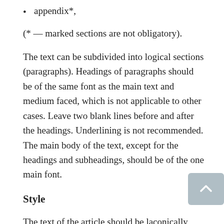appendix*,
(* — marked sections are not obligatory).
The text can be subdivided into logical sections (paragraphs). Headings of paragraphs should be of the same font as the main text and medium faced, which is not applicable to other cases. Leave two blank lines before and after the headings. Underlining is not recommended. The main body of the text, except for the headings and subheadings, should be of the one main font.
Style
The text of the article should be laconically stated and contain the necessary structural elements:
the statement of the problem in general and